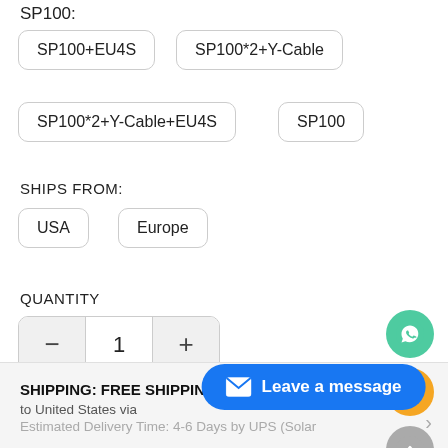SP100:
SP100+EU4S
SP100*2+Y-Cable
SP100*2+Y-Cable+EU4S
SP100
SHIPS FROM:
USA
Europe
QUANTITY
− 1 +
SHIPPING: FREE SHIPPING
to United States via
Estimated Delivery Time: 4-6 Days by UPS (Solar